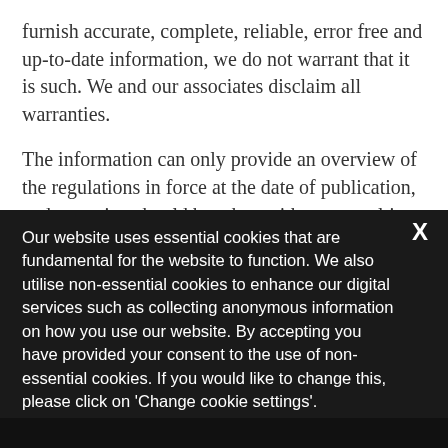furnish accurate, complete, reliable, error free and up-to-date information, we do not warrant that it is such. We and our associates disclaim all warranties.
The information can only provide an overview of the regulations in force at the date of publication, and no action should be taken without consulting the detailed legislation or seeking professional
Our website uses essential cookies that are fundamental for the website to function. We also utilise non-essential cookies to enhance our digital services such as collecting anonymous information on how you use our website. By accepting you have provided your consent to the use of non-essential cookies. If you would like to change this, please click on 'Change cookie settings'.
Accept & Close
Change cookie settings